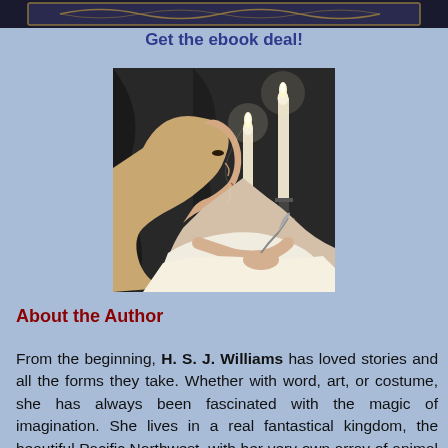[Figure (illustration): Top banner/header image with decorative text on dark background — partial book cover or title image]
Get the ebook deal!
[Figure (photo): Black and white illustration of a young woman writing by candlelight, looking down at paper with a quill pen, two candles in candlesticks in the background]
About the Author
From the beginning, H. S. J. Williams has loved stories and all the forms they take. Whether with word, art, or costume, she has always been fascinated with the magic of imagination. She lives in a real fantastical kingdom, the beautiful Pacific Northwest, with her very own array of animal friends and royally loving family. Williams taught Fantasy